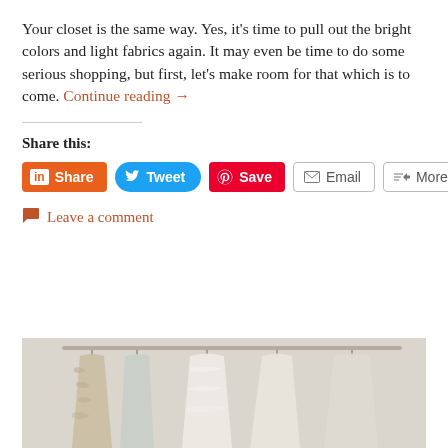Your closet is the same way. Yes, it’s time to pull out the bright colors and light fabrics again. It may even be time to do some serious shopping, but first, let’s make room for that which is to come. Continue reading →
Share this:
[Figure (screenshot): Social share buttons: LinkedIn Share, Twitter Tweet, Pinterest Save, Email, More]
Leave a comment
[Figure (photo): Photo of white and cream lace dresses hanging on a clothing rack in a closet]